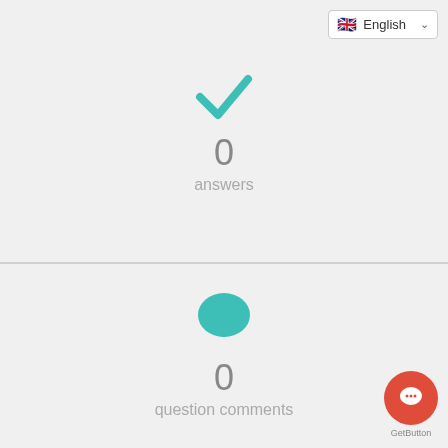[Figure (screenshot): UI screenshot showing a stats panel with sections for answers (0), question comments (0), liked (0), and a partial fourth section. Top right has an English language selector. Bottom right has a red GetButton chat widget.]
0
answers
0
question comments
0
liked
0
GetButton